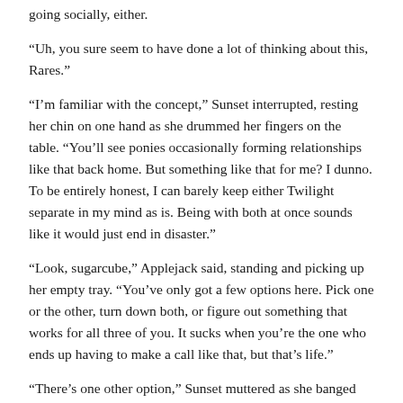going socially, either.
“Uh, you sure seem to have done a lot of thinking about this, Rares.”
“I’m familiar with the concept,” Sunset interrupted, resting her chin on one hand as she drummed her fingers on the table. “You’ll see ponies occasionally forming relationships like that back home. But something like that for me? I dunno. To be entirely honest, I can barely keep either Twilight separate in my mind as is. Being with both at once sounds like it would just end in disaster.”
“Look, sugarcube,” Applejack said, standing and picking up her empty tray. “You’ve only got a few options here. Pick one or the other, turn down both, or figure out something that works for all three of you. It sucks when you’re the one who ends up having to make a call like that, but that’s life.”
“There’s one other option,” Sunset muttered as she banged her forehead against the table. “I could run away and join the circus or something, and never speak to either of them again.”
Fluttershy laid a hand on Sunset’s arm and squeezed it